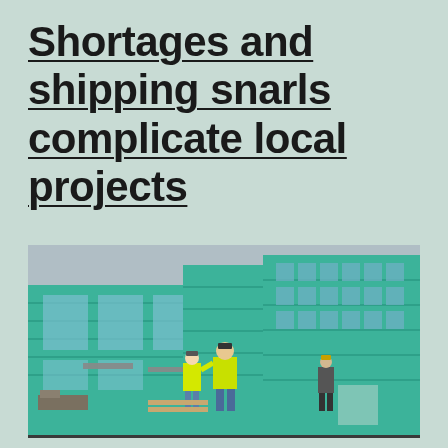Shortages and shipping snarls complicate local projects
[Figure (photo): Construction workers in yellow safety vests and hard hats standing in front of a building under construction with teal/green-wrapped exterior walls and exposed window frames. Overcast sky visible above.]